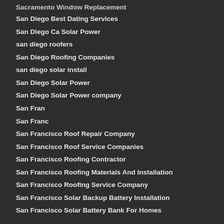Sacramento Window Replacement
San Diego Best Dating Services
San Diego Ca Solar Power
san diego roofers
San Diego Roofing Companies
san diego solar install
San Diego Solar Power
San Diego Solar Power company
San Fran
San Franc
San Francisco Roof Repair Company
San Francisco Roof Service Companies
San Francisco Roofing Contractor
San Francisco Roofing Materials And Installation
San Francisco Roofing Service Company
San Francisco Solar Backup Battery Installation
San Francisco Solar Battery Bank For Homes